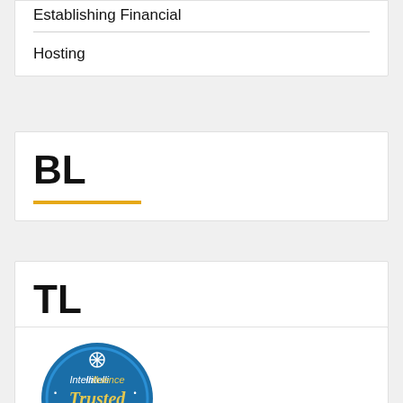Establishing Financial
Hosting
BL
TL
[Figure (logo): Intellifluence Trusted Blogger badge - circular blue badge with gold and white text]